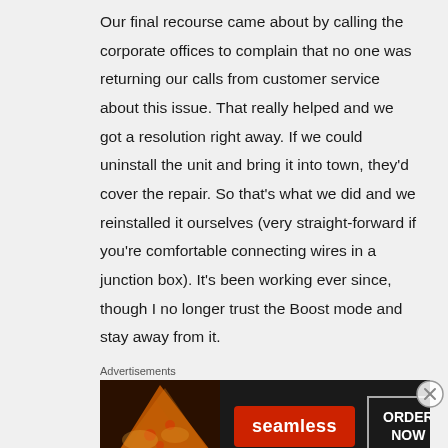Our final recourse came about by calling the corporate offices to complain that no one was returning our calls from customer service about this issue. That really helped and we got a resolution right away. If we could uninstall the unit and bring it into town, they'd cover the repair. So that's what we did and we reinstalled it ourselves (very straight-forward if you're comfortable connecting wires in a junction box). It's been working ever since, though I no longer trust the Boost mode and stay away from it.
Advertisements
[Figure (other): Seamless food delivery advertisement banner showing pizza slices on the left, a red Seamless logo button in the center, and an ORDER NOW button on the right, all on a dark background.]